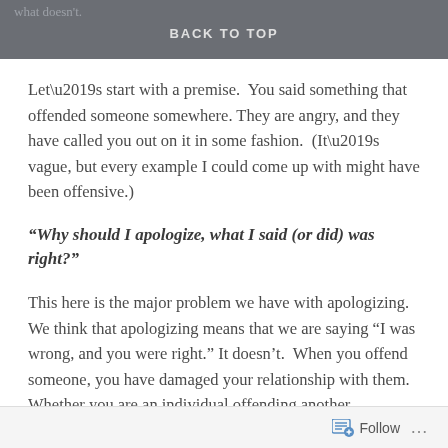what doesn't.
BACK TO TOP
Let’s start with a premise.  You said something that offended someone somewhere. They are angry, and they have called you out on it in some fashion.  (It’s vague, but every example I could come up with might have been offensive.)
“Why should I apologize, what I said (or did) was right?”
This here is the major problem we have with apologizing. We think that apologizing means that we are saying “I was wrong, and you were right.” It doesn’t.  When you offend someone, you have damaged your relationship with them. Whether you are an individual offending another individual or a company who offended a potential market, your actions have damaged the relationship.  The true
Follow ...